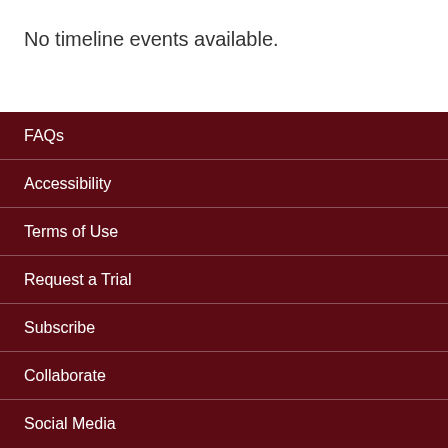No timeline events available.
FAQs
Accessibility
Terms of Use
Request a Trial
Subscribe
Collaborate
Social Media